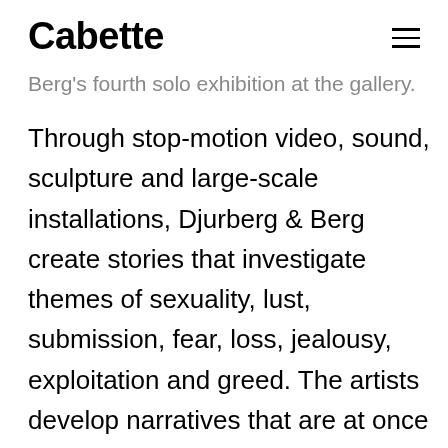Cabette
Berg's fourth solo exhibition at the gallery.
Through stop-motion video, sound, sculpture and large-scale installations, Djurberg & Berg create stories that investigate themes of sexuality, lust, submission, fear, loss, jealousy, exploitation and greed. The artists develop narratives that are at once comical and seductive, erotic and violent and that frequently hint at the absurd. Their surreal, psychologically charged works always deal